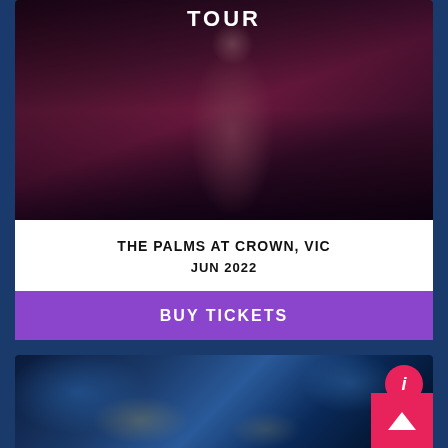[Figure (photo): Dark moody concert photo of a female performer with tattoos, wearing a floral dress, near a microphone stand. Strong dark purple and red tones. Text overlay 'TOUR' at top in white bold letters.]
THE PALMS AT CROWN, VIC
JUN 2022
BUY TICKETS
[Figure (photo): Dark blue concert scene with starry night Van Gogh-style projection on stage elements. Three lit box shapes visible. Blue spotlight beams from above.]